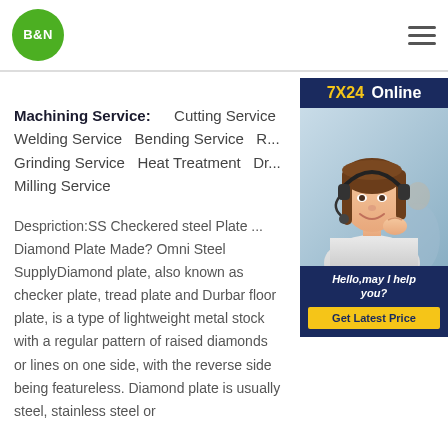[Figure (logo): B&N logo: green circle with white bold B&N text]
Machining Service:   Cutting Service   Welding Service   Bending Service   R...   Grinding Service   Heat Treatment   Dr...   Milling Service
[Figure (photo): Customer service representative with headset, smiling. Banner reads: 7X24 Online. Hello, may I help you? Get Latest Price button.]
Despriction:SS Checkered steel Plate ... Diamond Plate Made? Omni Steel SupplyDiamond plate, also known as checker plate, tread plate and Durbar floor plate, is a type of lightweight metal stock with a regular pattern of raised diamonds or lines on one side, with the reverse side being featureless. Diamond plate is usually steel, stainless steel or